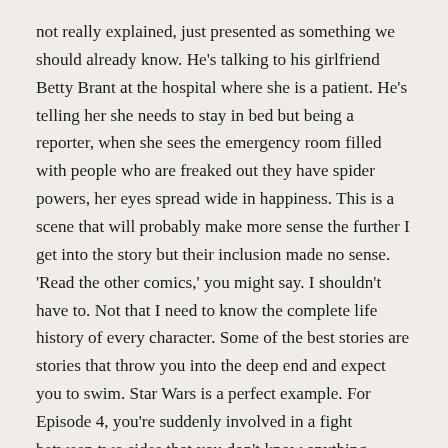not really explained, just presented as something we should already know. He's talking to his girlfriend Betty Brant at the hospital where she is a patient. He's telling her she needs to stay in bed but being a reporter, when she sees the emergency room filled with people who are freaked out they have spider powers, her eyes spread wide in happiness. This is a scene that will probably make more sense the further I get into the story but their inclusion made no sense. 'Read the other comics,' you might say. I shouldn't have to. Not that I need to know the complete life history of every character. Some of the best stories are stories that throw you into the deep end and expect you to swim. Star Wars is a perfect example. For Episode 4, you're suddenly involved in a fight between two sides that you don't know anything about. Yet the movie does a great job of acclimating you to what is going on quickly. You care for the characters without quite knowing where they fit at first. Once you get used to the story you care for them even more. The only reason I knew about Flash Thompson and Betty Brant was their places in Spider-Man history. If I started reading Spider-Man with